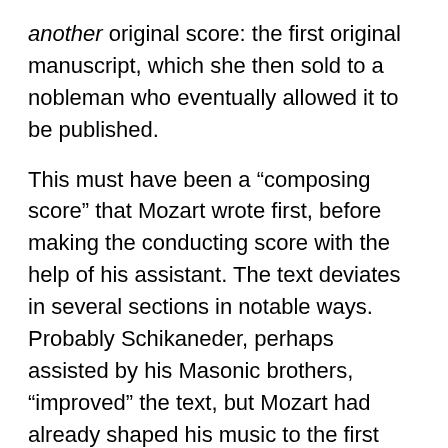another original score: the first original manuscript, which she then sold to a nobleman who eventually allowed it to be published.
This must have been a “composing score” that Mozart wrote first, before making the conducting score with the help of his assistant. The text deviates in several sections in notable ways. Probably Schikaneder, perhaps assisted by his Masonic brothers, “improved” the text, but Mozart had already shaped his music to the first text.
In most sections the differences are minimal and the new text was indeed an improvement. But in some cases I feel the original text was what inspired Mozart to write and orchestrate the way he did. Our marvelous singers have generously agreed to make the changes and I think we will all see how it fits the music so much better.